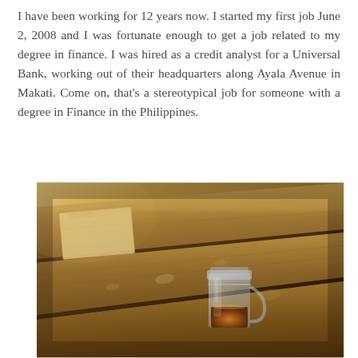I have been working for 12 years now. I started my first job June 2, 2008 and I was fortunate enough to get a job related to my degree in finance. I was hired as a credit analyst for a Universal Bank, working out of their headquarters along Ayala Avenue in Makati. Come on, that's a stereotypical job for someone with a degree in Finance in the Philippines.
[Figure (photo): A small glass mason jar mug containing amber liquid (tea or similar beverage) sitting on weathered wooden planks/boards at an outdoor setting. A small card or envelope is visible in the upper left area of the image. The photo has a warm, slightly blurred bokeh background.]